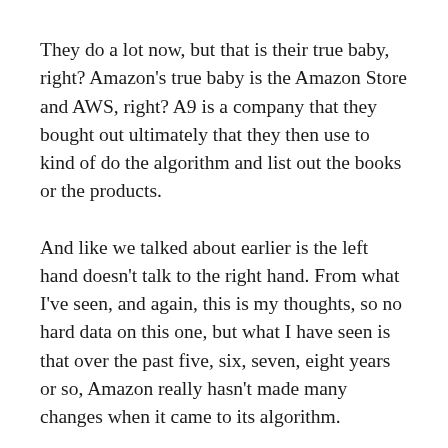They do a lot now, but that is their true baby, right? Amazon's true baby is the Amazon Store and AWS, right? A9 is a company that they bought out ultimately that they then use to kind of do the algorithm and list out the books or the products.
And like we talked about earlier is the left hand doesn't talk to the right hand. From what I've seen, and again, this is my thoughts, so no hard data on this one, but what I have seen is that over the past five, six, seven, eight years or so, Amazon really hasn't made many changes when it came to its algorithm.